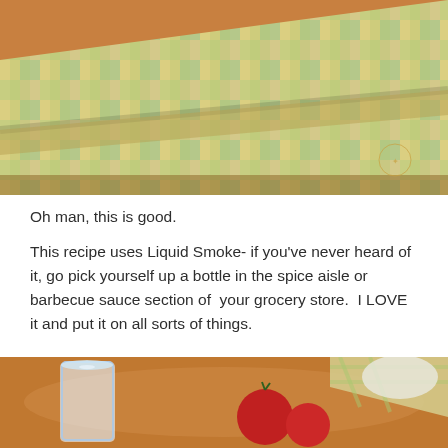[Figure (photo): Close-up photo of a green and yellow checkered/plaid fabric tablecloth on a wooden table, with a partially visible plate or book at the top edge. A small circular logo/watermark is visible in the lower right area of the image.]
Oh man, this is good.
This recipe uses Liquid Smoke- if you've never heard of it, go pick yourself up a bottle in the spice aisle or barbecue sauce section of  your grocery store.  I LOVE it and put it on all sorts of things.
[Figure (photo): Photo of a wooden table with a glass of water, red tomatoes, a checkered plaid napkin, and a plate with food visible in the background.]